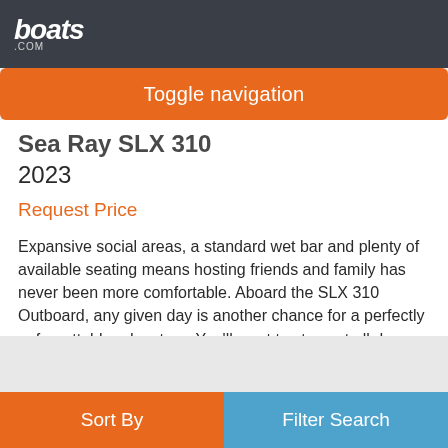boats.com
Toggle navigation
Sea Ray SLX 310
2023
Request Price
Expansive social areas, a standard wet bar and plenty of available seating means hosting friends and family has never been more comfortable. Aboard the SLX 310 Outboard, any given day is another chance for a perfectly unforgettable adventure. You'll want to stay out all day - and with Yacht Certified capacity, you'll want to invite all your friends along. More…
Sort By | Filter Search